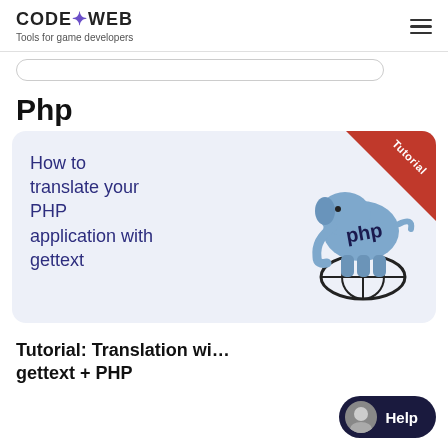CODE+WEB — Tools for game developers
Php
[Figure (illustration): Card thumbnail showing PHP elephant logo standing on a globe with text 'How to translate your PHP application with gettext' and a red 'Tutorial' corner badge]
Tutorial: Translation with gettext + PHP